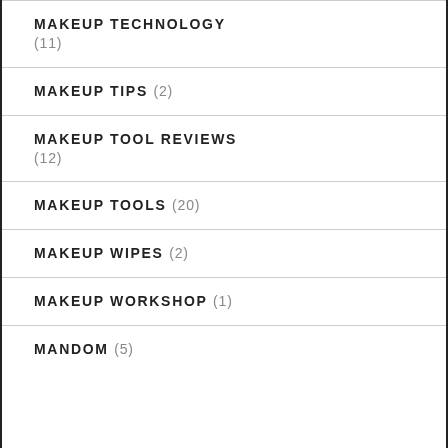MAKEUP TECHNOLOGY (11)
MAKEUP TIPS (2)
MAKEUP TOOL REVIEWS (12)
MAKEUP TOOLS (20)
MAKEUP WIPES (2)
MAKEUP WORKSHOP (1)
MANDOM (5)